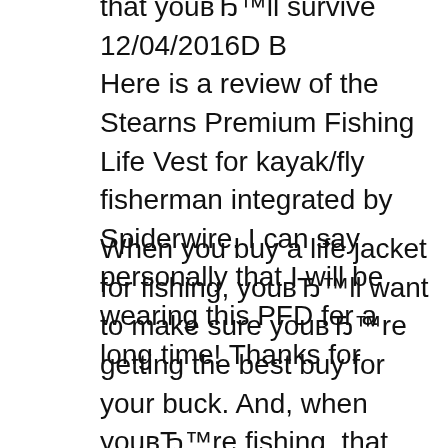that youвЂ™ll survive 12/04/2016D B Here is a review of the Stearns Premium Fishing Life Vest for kayak/fly fisherman integrated by Spiderwire. I can say personally that I will be wearing this PFD for a long time! Thanks for
When you buy a life jacket for fishing, youвЂ™ll want to make sure youвЂ™re getting the best buy for your buck. And, when youвЂ™re fishing, that means pockets. Practicality and safety should blend seamlessly to create the perfect fishing life jacket. Our helpful reviews point вЂ¦ Related Searches: snorkel vest coat proof water kayak pfd fish vest ski water life vest for kayak donut pool vest in boat kid life jacket save vest iron